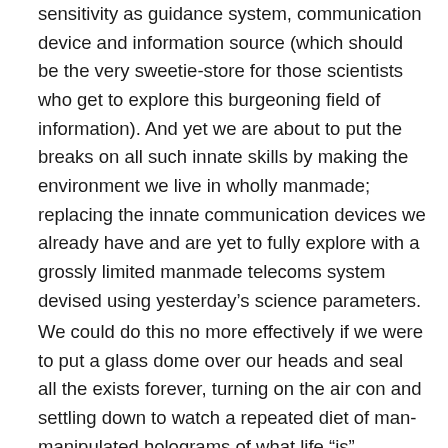sensitivity as guidance system, communication device and information source (which should be the very sweetie-store for those scientists who get to explore this burgeoning field of information). And yet we are about to put the breaks on all such innate skills by making the environment we live in wholly manmade; replacing the innate communication devices we already have and are yet to fully explore with a grossly limited manmade telecoms system devised using yesterday’s science parameters.
We could do this no more effectively if we were to put a glass dome over our heads and seal all the exists forever, turning on the air con and settling down to watch a repeated diet of man-manipulated holograms of what life “is” according to those who write the software; since this is